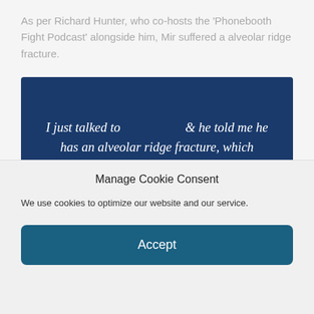As per Richard Hunter, who co-hosts the 'Phonebooth Fight Podcast' alongside him, Mir suffered a alveolar ridge fracture.
[Figure (screenshot): Dark blue quote box with italic white text reading: 'I just talked to [redacted] & he told me he has an alveolar ridge fracture, which caused the tap. Frank was without his mouthpiece [cut off]']
Manage Cookie Consent
We use cookies to optimize our website and our service.
Accept